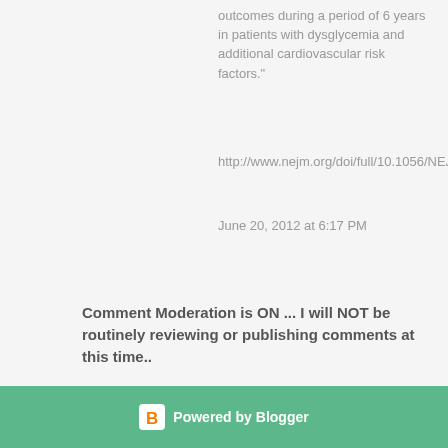outcomes during a period of 6 years in patients with dysglycemia and additional cardiovascular risk factors."
http://www.nejm.org/doi/full/10.1056/NEJMoa1203859#t=articleBackground
June 20, 2012 at 6:17 PM
Comment Moderation is ON ... I will NOT be routinely reviewing or publishing comments at this time..
To leave a comment, click the button below to sign in with Google.
[Figure (screenshot): SIGN IN WITH GOOGLE button - blue rectangular button with white uppercase text]
Powered by Blogger